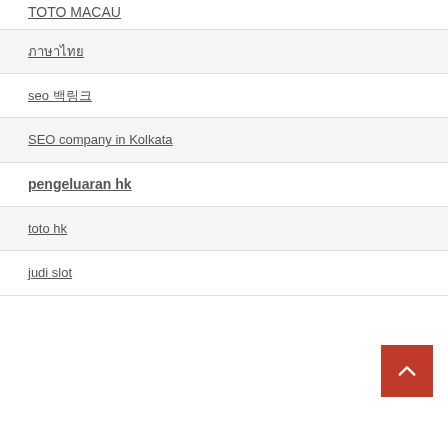TOTO MACAU
ภาษาไทย
seo 백링크
SEO company in Kolkata
pengeluaran hk
toto hk
judi slot